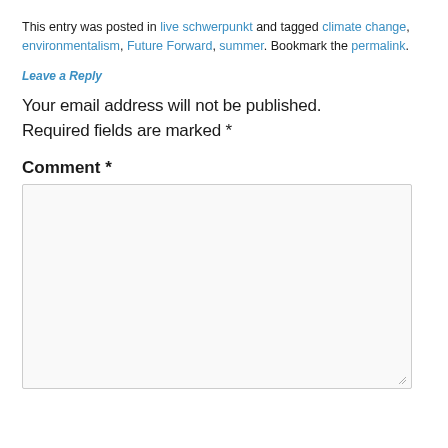This entry was posted in live schwerpunkt and tagged climate change, environmentalism, Future Forward, summer. Bookmark the permalink.
Leave a Reply
Your email address will not be published. Required fields are marked *
Comment *